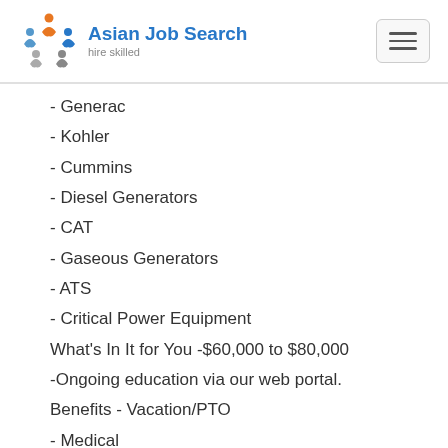Asian Job Search — hire skilled
- Generac
- Kohler
- Cummins
- Diesel Generators
- CAT
- Gaseous Generators
- ATS
- Critical Power Equipment
What's In It for You -$60,000 to $80,000
-Ongoing education via our web portal.
Benefits - Vacation/PTO
- Medical
- Dental
- 401k
So, if you are a Generator Technician with